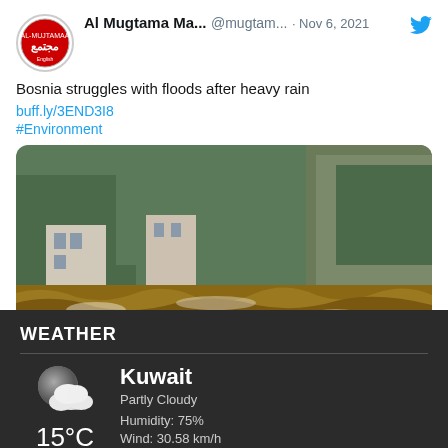Al Mugtama Ma... @mugtam... · Nov 6, 2021
Bosnia struggles with floods after heavy rain
buff.ly/3END3I8
#Environment
[Figure (photo): Flooded river with rushing brown water, buildings and green trees in background. Red banner overlay reading AL-MUJTAMAA on bottom left, red banner reading Environment on bottom right.]
WEATHER
[Figure (illustration): Partly cloudy weather icon: dark grey moon/circle with white clouds in front]
Kuwait
Partly Cloudy
Humidity: 75%
Wind: 30.58 km/h
15°C